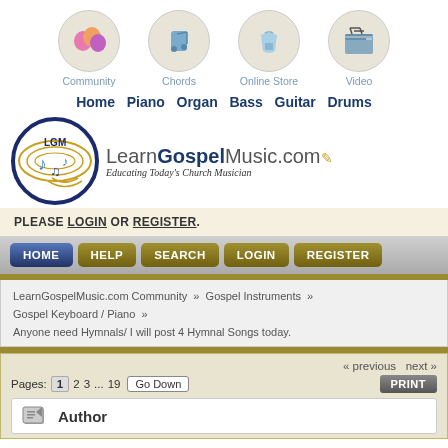[Figure (screenshot): Navigation icons row: Community (people icon), Chords (music note icon), Online Store (shopping bag icon), Video (clapperboard icon) — all in circular beige backgrounds]
Community   Chords   Online Store   Video
Home  Piano  Organ  Bass  Guitar  Drums
[Figure (logo): LearnGospelMusic.com logo with circular globe/music note emblem and text 'Learn Gospel Music.com' with tagline 'Educating Today's Church Musician']
PLEASE LOGIN OR REGISTER.
HOME   HELP   SEARCH   LOGIN   REGISTER
LearnGospelMusic.com Community »  Gospel Instruments »
Gospel Keyboard / Piano »
Anyone need Hymnals/ I will post 4 Hymnal Songs today.
« previous next »
Pages: [1] 2 3 ... 19   Go Down   PRINT
Author